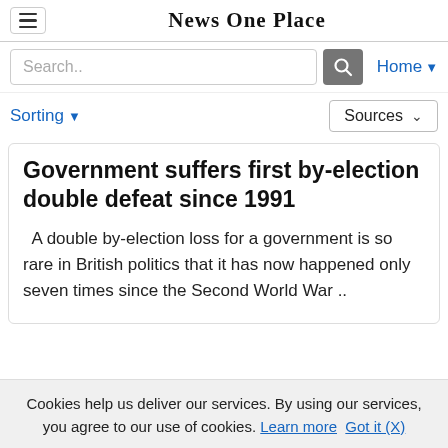News One Place
Search..
Home
Sorting
Sources
Government suffers first by-election double defeat since 1991
A double by-election loss for a government is so rare in British politics that it has now happened only seven times since the Second World War ..
Cookies help us deliver our services. By using our services, you agree to our use of cookies. Learn more  Got it (X)